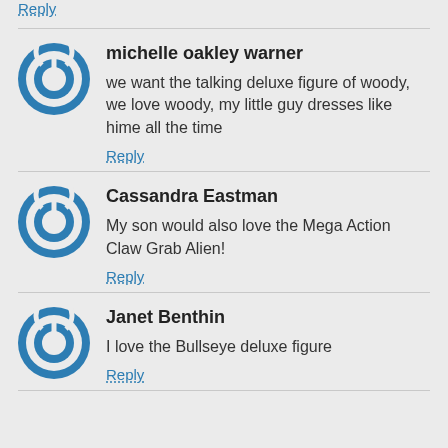Reply
michelle oakley warner
we want the talking deluxe figure of woody, we love woody, my little guy dresses like hime all the time
Reply
Cassandra Eastman
My son would also love the Mega Action Claw Grab Alien!
Reply
Janet Benthin
I love the Bullseye deluxe figure
Reply